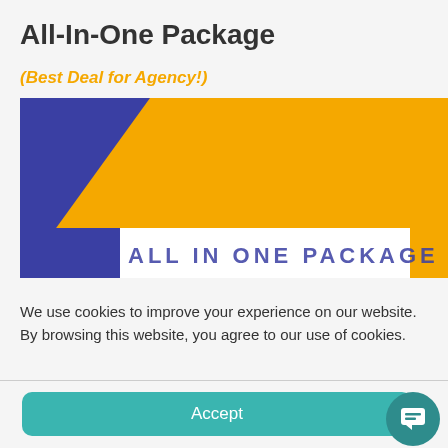All-In-One Package
(Best Deal for Agency!)
[Figure (illustration): Decorative banner image with yellow and dark blue geometric shapes, showing partial text 'ALL IN ONE PACKAGE' in blue letters on a white strip at bottom.]
We use cookies to improve your experience on our website. By browsing this website, you agree to our use of cookies.
Accept
Cookie Policy